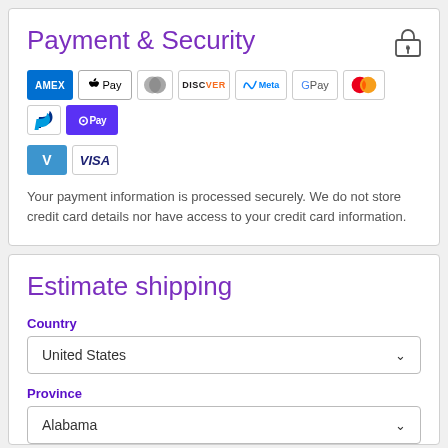Payment & Security
[Figure (logo): Payment method logos: AMEX, Apple Pay, Diners Club, Discover, Meta Pay, Google Pay, Mastercard, PayPal, Shop Pay, Venmo, Visa]
Your payment information is processed securely. We do not store credit card details nor have access to your credit card information.
Estimate shipping
Country
United States
Province
Alabama